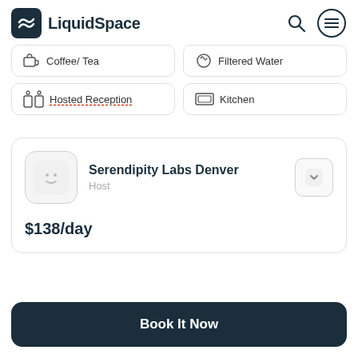LiquidSpace
Coffee/ Tea
Filtered Water
Hosted Reception
Kitchen
Serendipity Labs Denver
Host
$138/day
Book It Now